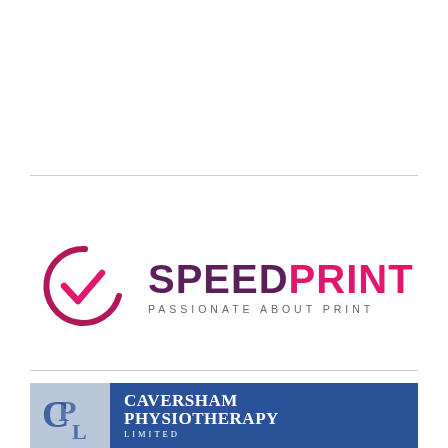[Figure (logo): SpeedPrint logo with circular checkmark icon in pink/magenta and dark purple text reading SPEED in dark purple and PRINT in pink, with tagline PASSIONATE ABOUT PRINT]
[Figure (logo): Caversham Physiotherapy Limited logo with light blue left panel containing stylized CPL monogram and dark blue right panel with white serif text reading CAVERSHAM PHYSIOTHERAPY LIMITED]